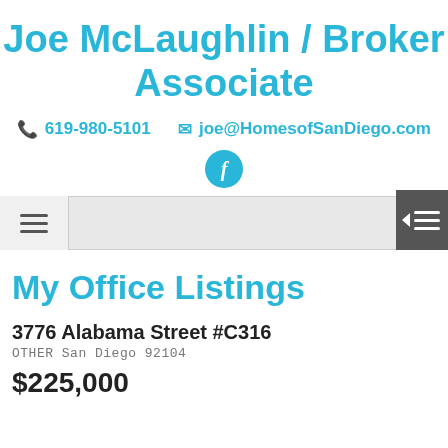Joe McLaughlin / Broker Associate
📞 619-980-5101  ✉ joe@HomesofSanDiego.com
[Figure (logo): Facebook icon — circular teal/cyan button with white letter f]
[Figure (screenshot): Navigation bar with hamburger menu on left and collapse icon on right dark panel]
My Office Listings
3776 Alabama Street #C316
OTHER San Diego 92104
$225,000